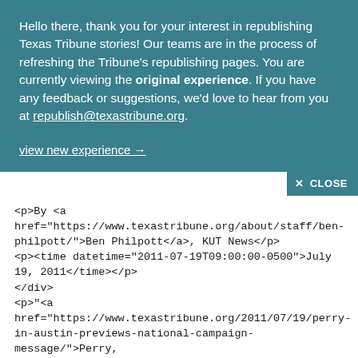Hello there, thank you for your interest in republishing Texas Tribune stories! Our teams are in the process of refreshing the Tribune's republishing pages. You are currently viewing the original experience. If you have any feedback or suggestions, we'd love to hear from you at republish@texastribune.org.
view new experience →
✕ CLOSE
<p>By <a href="https://www.texastribune.org/about/staff/ben-philpott/">Ben Philpott</a>, KUT News</p> <p><time datetime="2011-07-19T09:00:00-0500">July 19, 2011</time></p> </div> <p>"<a href="https://www.texastribune.org/2011/07/19/perry-in-austin-previews-national-campaign-message/">Perry, in Austin, Previews National Campaign Message</a>" was first published by The Texas Tribune, a nonprofit, nonpartisan media organization that informs Texans — and engages with them — about public policy, politics, government and statewide issues.</p> <p>Gov. <a